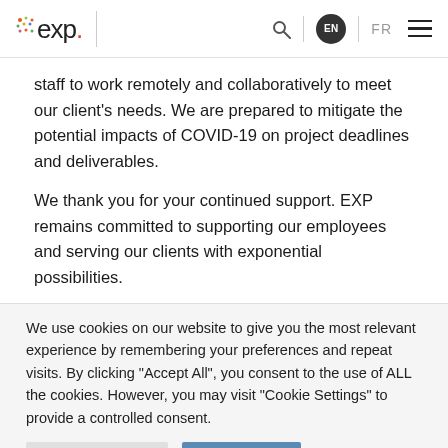exp. EN FR [navigation]
staff to work remotely and collaboratively to meet our client's needs. We are prepared to mitigate the potential impacts of COVID-19 on project deadlines and deliverables.
We thank you for your continued support. EXP remains committed to supporting our employees and serving our clients with exponential possibilities.
We use cookies on our website to give you the most relevant experience by remembering your preferences and repeat visits. By clicking "Accept All", you consent to the use of ALL the cookies. However, you may visit "Cookie Settings" to provide a controlled consent.
Cookie Settings | Accept All